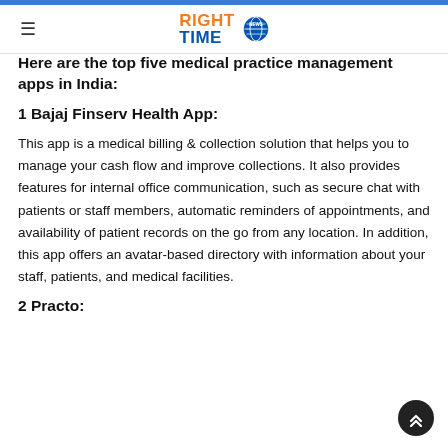RIGHT TIME NEWS
Here are the top five medical practice management apps in India:
1 Bajaj Finserv Health App:
This app is a medical billing & collection solution that helps you to manage your cash flow and improve collections. It also provides features for internal office communication, such as secure chat with patients or staff members, automatic reminders of appointments, and availability of patient records on the go from any location. In addition, this app offers an avatar-based directory with information about your staff, patients, and medical facilities.
2 Practo: